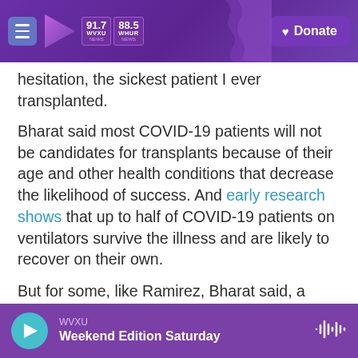91.7 WVXU NEWS | 88.5 WHUR NEWS | Donate
hesitation, the sickest patient I ever transplanted.
Bharat said most COVID-19 patients will not be candidates for transplants because of their age and other health conditions that decrease the likelihood of success. And early research shows that up to half of COVID-19 patients on ventilators survive the illness and are likely to recover on their own.
But for some, like Ramirez, Bharat said, a transplant can be a lifesaving option of last resort.
When Ramirez woke up after the operation, she was disoriented, could barely move her body and
WVXU — Weekend Edition Saturday